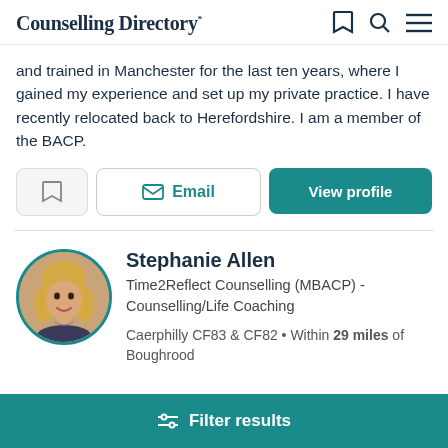Counselling Directory
and trained in Manchester for the last ten years, where I gained my experience and set up my private practice. I have recently relocated back to Herefordshire. I am a member of the BACP.
Stephanie Allen
Time2Reflect Counselling (MBACP) - Counselling/Life Coaching
Caerphilly CF83 & CF82 • Within 29 miles of Boughrood
Filter results